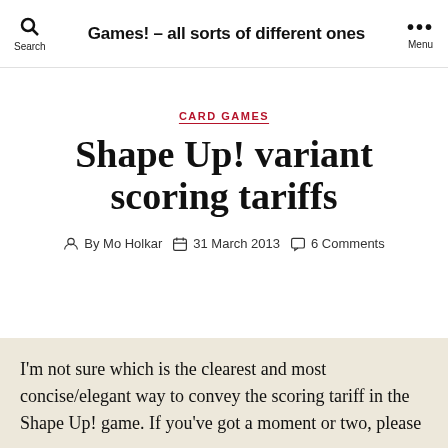Games! – all sorts of different ones
CARD GAMES
Shape Up! variant scoring tariffs
By Mo Holkar  31 March 2013  6 Comments
I'm not sure which is the clearest and most concise/elegant way to convey the scoring tariff in the Shape Up! game. If you've got a moment or two, please